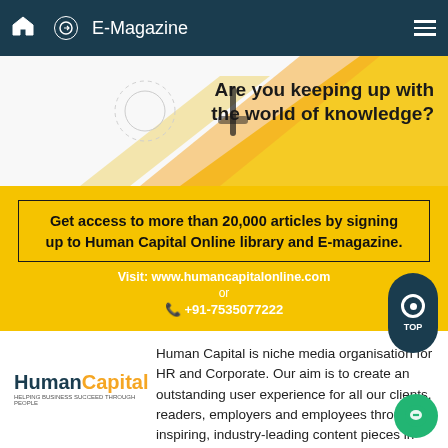E-Magazine
[Figure (infographic): Banner image with geometric yellow shapes and hand/phone illustration, text: Are you keeping up with the world of knowledge?]
Get access to more than 20,000 articles by signing up to Human Capital Online library and E-magazine. Visit: www.humancapitalonline.com or +91-7535077222
[Figure (logo): Human Capital logo — 'Human' in dark teal bold, 'Capital' in orange bold, tagline below]
Human Capital is niche media organisation for HR and Corporate. Our aim is to create an outstanding user experience for all our clients, readers, employers and employees through inspiring, industry-leading content pieces in the form of case studies, analysis, expert reports, authored articles and blogs. We cover topics such as talent acquisition, learning and development, diversity and inclusion, leadership, compensation, recruitment and many